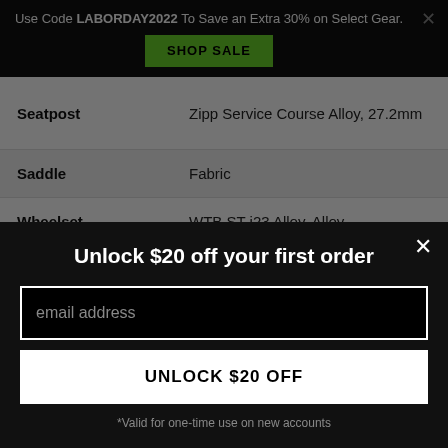Use Code LABORDAY2022 To Save an Extra 30% on Select Gear. SHOP SALE
| Spec | Value |
| --- | --- |
| Seatpost | Zipp Service Course Alloy, 27.2mm |
| Saddle | Fabric |
| Wheelset | WTB ST i23 Alloy, Alloy |
| Front Tire | WTB Riddler, 700C x 37C |
Unlock $20 off your first order
email address
UNLOCK $20 OFF
*Valid for one-time use on new accounts